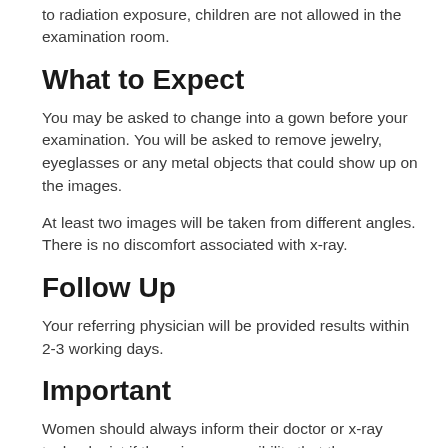to radiation exposure, children are not allowed in the examination room.
What to Expect
You may be asked to change into a gown before your examination. You will be asked to remove jewelry, eyeglasses or any metal objects that could show up on the images.
At least two images will be taken from different angles. There is no discomfort associated with x-ray.
Follow Up
Your referring physician will be provided results within 2-3 working days.
Important
Women should always inform their doctor or x-ray technologist if there is any possibility that they are